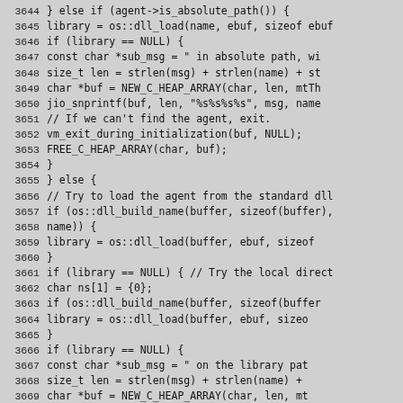[Figure (screenshot): Source code listing showing lines 3644–3673 of a C++ source file dealing with dynamic library loading for agents, with line numbers on the left and monospace code on the right.]